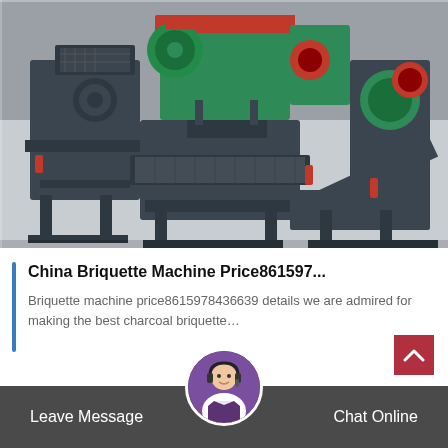[Figure (photo): Industrial briquette machines in a factory setting — large dark grey metal presses with green/teal rollers and red accents, conveyor belt attachments, arranged in a row on a factory floor]
China Briquette Machine Price861597...
Briquette machine price8615978436639 details we are admired for making the best charcoal briquette…
Leave Message   Chat Online